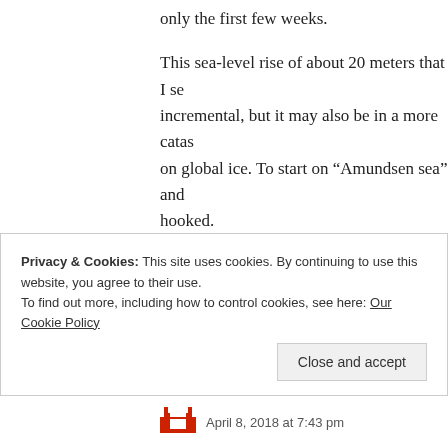only the first few weeks.
This sea-level rise of about 20 meters that I see incremental, but it may also be in a more catas on global ice. To start on “Amundsen sea” and hooked.
A critical reader of IPCC’s fifth’s assessment ( permafrost is just a tiny bit undervalued.
Research is fun, if you’re not too lazy.
Have fun.
Privacy & Cookies: This site uses cookies. By continuing to use this website, you agree to their use.
To find out more, including how to control cookies, see here: Our Cookie Policy
April 8, 2018 at 7:43 pm